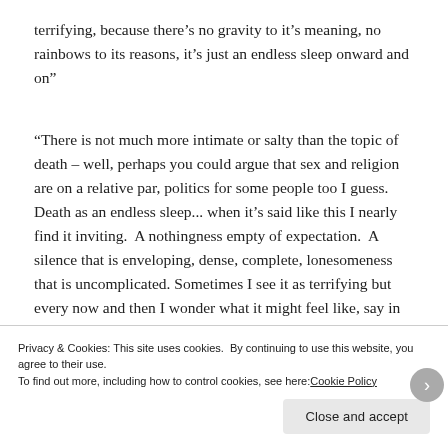terrifying, because there's no gravity to it's meaning, no rainbows to its reasons, it's just an endless sleep onward and on”
“There is not much more intimate or salty than the topic of death – well, perhaps you could argue that sex and religion are on a relative par, politics for some people too I guess.  Death as an endless sleep... when it’s said like this I nearly find it inviting.  A nothingness empty of expectation.  A silence that is enveloping, dense, complete, lonesomeness that is uncomplicated. Sometimes I see it as terrifying but every now and then I wonder what it might feel like, say in
Privacy & Cookies: This site uses cookies.  By continuing to use this website, you agree to their use.
To find out more, including how to control cookies, see here: Cookie Policy